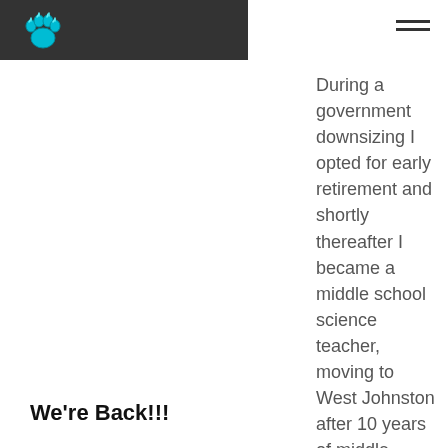During a government downsizing I opted for early retirement and shortly thereafter I became a middle school science teacher, moving to West Johnston after 10 years of middle school science.
We're Back!!!